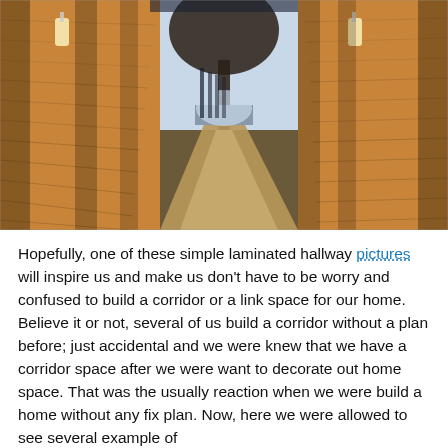[Figure (photo): A warmly lit architectural corridor with stone/rammed-earth walls illuminated by golden sunlight, wall-mounted light fixtures, and a tree visible in the background at the end of the passageway. The floor appears to be polished concrete or stone.]
Hopefully, one of these simple laminated hallway pictures will inspire us and make us don't have to be worry and confused to build a corridor or a link space for our home. Believe it or not, several of us build a corridor without a plan before; just accidental and we were knew that we have a corridor space after we were want to decorate out home space. That was the usually reaction when we were build a home without any fix plan. Now, here we were allowed to see several example of